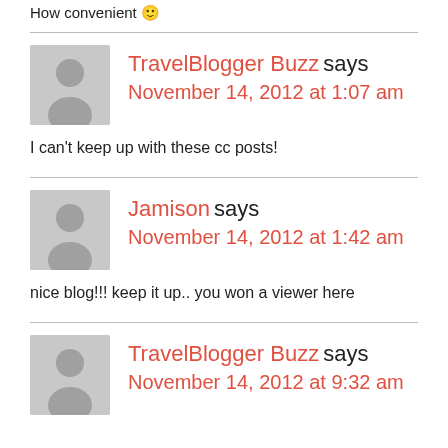How convenient 🙂
TravelBlogger Buzz says
November 14, 2012 at 1:07 am
I can't keep up with these cc posts!
Jamison says
November 14, 2012 at 1:42 am
nice blog!!! keep it up.. you won a viewer here
TravelBlogger Buzz says
November 14, 2012 at 9:32 am